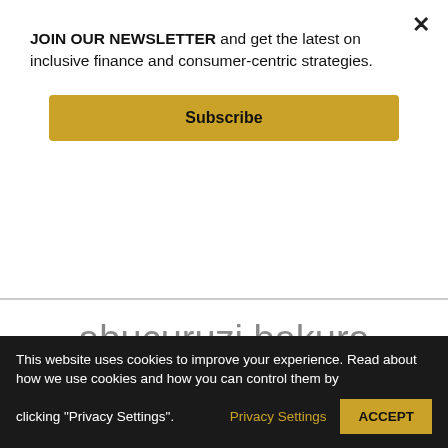JOIN OUR NEWSLETTER and get the latest on inclusive finance and consumer-centric strategies.
Subscribe
abucuruzi bakura ibishoro muri iki gihe cya Covid-19.

Rufasha
This website uses cookies to improve your experience. Read about how we use cookies and how you can control them by clicking "Privacy Settings". Privacy Settings ACCEPT